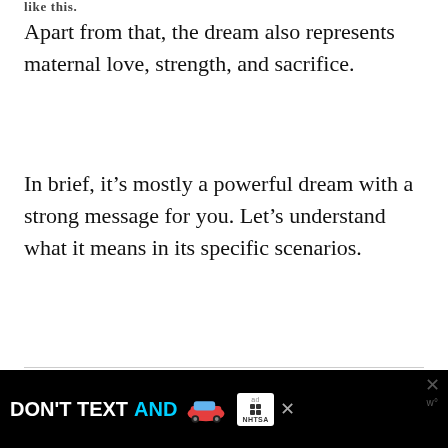Apart from that, the dream also represents maternal love, strength, and sacrifice.
In brief, it’s mostly a powerful dream with a strong message for you. Let’s understand what it means in its specific scenarios.
Dream of Kangaroo – 77 Scenarios & Their Interpretations
The real-life implications of a Kangaroo dream could vary depending on the co...
[Figure (other): Advertisement banner: DON'T TEXT AND [car emoji] ad badge with NHTSA logo]